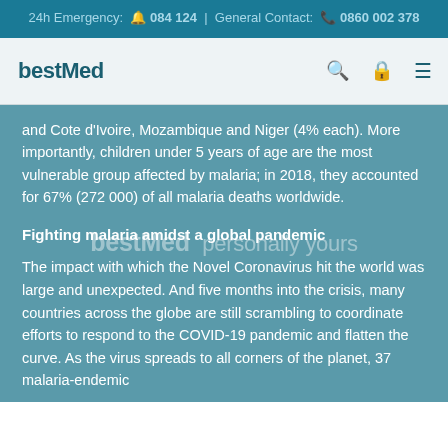24h Emergency: 084 124 | General Contact: 0860 002 378
[Figure (logo): bestMed logo with navigation icons (search, account, menu)]
and Cote d'Ivoire, Mozambique and Niger (4% each). More importantly, children under 5 years of age are the most vulnerable group affected by malaria; in 2018, they accounted for 67% (272 000) of all malaria deaths worldwide.
Fighting malaria amidst a global pandemic
The impact with which the Novel Coronavirus hit the world was large and unexpected. And five months into the crisis, many countries across the globe are still scrambling to coordinate efforts to respond to the COVID-19 pandemic and flatten the curve. As the virus spreads to all corners of the planet, 37 malaria-endemic